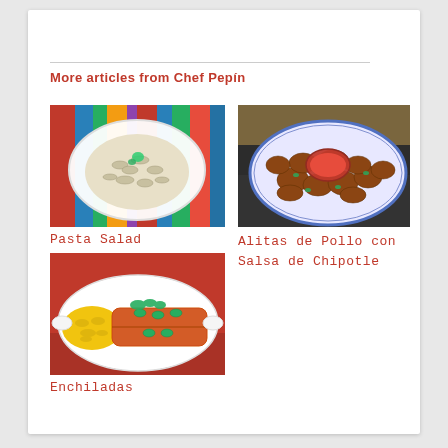More articles from Chef Pepín
[Figure (photo): A white plate with pasta salad on a colorful woven tablecloth]
Pasta Salad
[Figure (photo): A blue and white plate of chicken wings (alitas de pollo) with chipotle dipping sauce]
Alitas de Pollo con Salsa de Chipotle
[Figure (photo): A white plate with enchiladas topped with sauce, jalapeños, and yellow rice on a red background]
Enchiladas